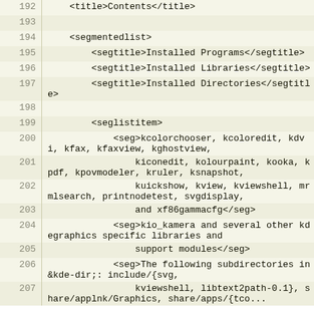192    <title>Contents</title>
193
194    <segmentedlist>
195        <segtitle>Installed Programs</segtitle>
196        <segtitle>Installed Libraries</segtitle>
197        <segtitle>Installed Directories</segtitle>
198
199        <seglistitem>
200            <seg>kcolorchooser, kcoloredit, kdvi, kfax, kfaxview, kghostview,
201                kiconedit, kolourpaint, kooka, kpdf, kpovmodeler, kruler, ksnapshot,
202                kuickshow, kview, kviewshell, mrmlsearch, printnodetest, svgdisplay,
203                and xf86gammacfg</seg>
204            <seg>kio_kamera and several other kdegraphics specific libraries and
205                support modules</seg>
206            <seg>The following subdirectories in &kde-dir;: include/{svg,
207                kviewshell, libtext2path-0.1}, share/applnk/Graphics, share/apps/{tco...